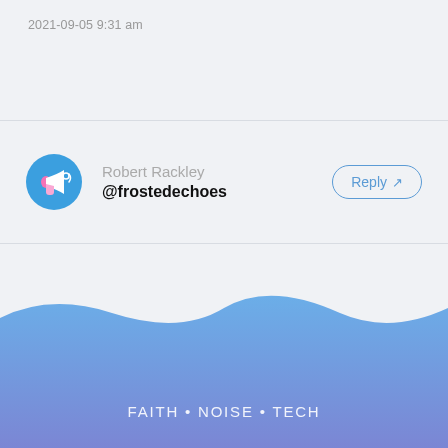2021-09-05 9:31 am
Robert Rackley
@frostedechoes
FAITH • NOISE • TECH